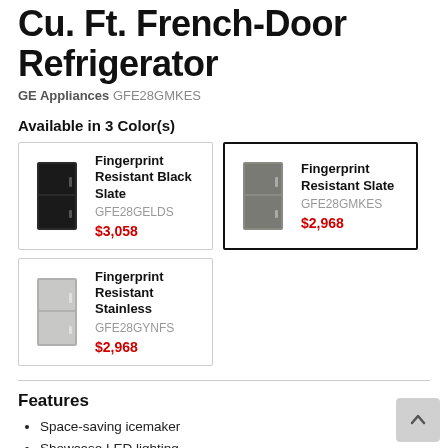Cu. Ft. French-Door Refrigerator
GE Appliances GFE28GMKES
Available in 3 Color(s)
| Fingerprint Resistant Black Slate | GFE28GELDS | $3,058 |
| Fingerprint Resistant Slate | GFE28GMKES | $2,968 |
| Fingerprint Resistant Stainless | GFE28GYNFS | $2,968 |
Features
Space-saving icemaker
Showcase LED lighting
Second icemaker option
Advanced water filtration uses RPWFE replacement filter